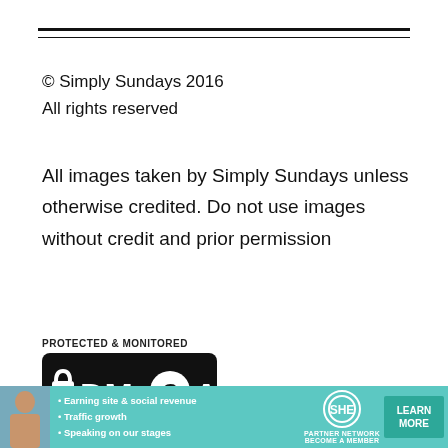© Simply Sundays 2016
All rights reserved
All images taken by Simply Sundays unless otherwise credited. Do not use images without credit and prior permission
[Figure (logo): DMCA Protected & Monitored badge — black rounded rectangle with lock icon and DMCA text in white]
//images.dmca.com/Badges/DMCABadgeH
[Figure (infographic): SHE Partner Network advertisement banner with photo of woman, bullet points about earning site & social revenue, traffic growth, speaking on stages, and a Learn More button]